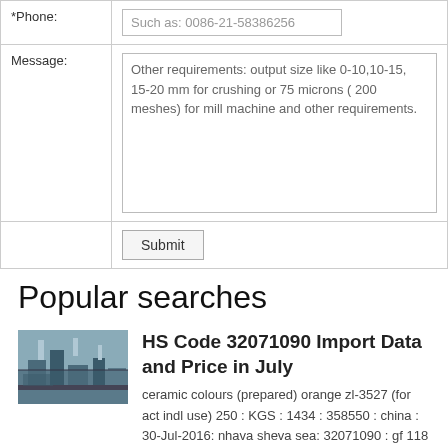| *Phone: | Such as: 0086-21-58386256 |
| Message: | Other requirements: output size like 0-10,10-15, 15-20 mm for crushing or 75 microns ( 200 meshes) for mill machine and other requirements. |
|  | Submit |
Popular searches
[Figure (photo): Industrial facility or plant exterior photo]
HS Code 32071090 Import Data and Price in July
ceramic colours (prepared) orange zl-3527 (for act indl use) 250 : KGS : 1434 : 358550 : china : 30-Jul-2016: nhava sheva sea: 32071090 : gf 118 mt 25 micrograniglia matt morbida ( sample ceramic glage powder for tiles sarface decoration ) 100 : KGS : 230 ...